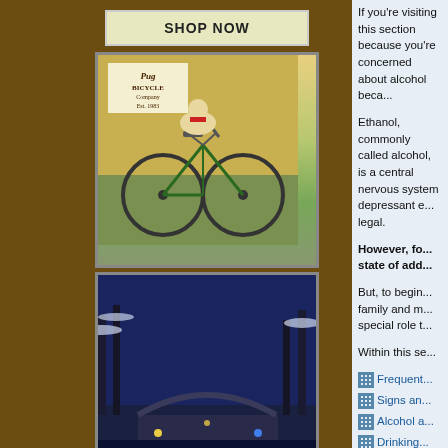[Figure (illustration): Shop Now button on brown wooden background]
[Figure (illustration): Pug Bicycle Company vintage-style poster showing a pug riding a bicycle]
[Figure (photo): Winter night scene with snow-covered trees and a bridge]
VALID 11/28 - 11/29
TOTAL GYM
[Figure (photo): Total Gym product image]
If you're visiting this section because you're concerned about alcohol because...
Ethanol, commonly called alcohol, is a central nervous system depressant e... legal.
However, for... state of add...
But, to begin... family and m... special role t...
Within this se...
Frequent...
Signs an...
Alcohol a...
Drinking...
Fetal Alc... (FASD)
Seniors,...
Workplac...
NCADD Affili...